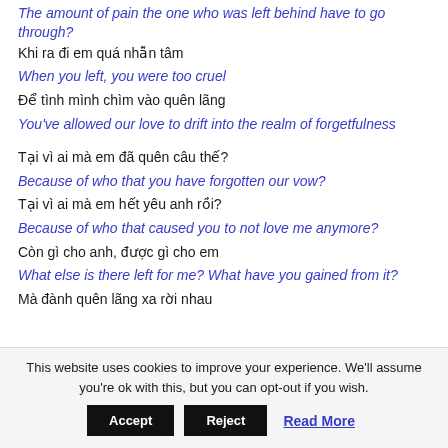The amount of pain the one who was left behind have to go through?
Khi ra đi em quá nhẫn tâm
When you left, you were too cruel
Để tình mình chìm vào quên lãng
You've allowed our love to drift into the realm of forgetfulness
Tại vì ai mà em đã quên câu thế?
Because of who that you have forgotten our vow?
Tại vì ai mà em hết yêu anh rồi?
Because of who that caused you to not love me anymore?
Còn gì cho anh, được gì cho em
What else is there left for me? What have you gained from it?
Mà đành quên lãng xa rời nhau
This website uses cookies to improve your experience. We'll assume you're ok with this, but you can opt-out if you wish.